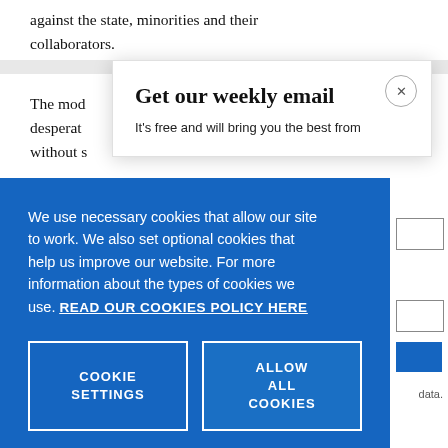against the state, minorities and their collaborators.
The mod… desperate… without s…
Get our weekly email
It's free and will bring you the best from
We use necessary cookies that allow our site to work. We also set optional cookies that help us improve our website. For more information about the types of cookies we use. READ OUR COOKIES POLICY HERE
COOKIE SETTINGS
ALLOW ALL COOKIES
data.
in Wiscor…